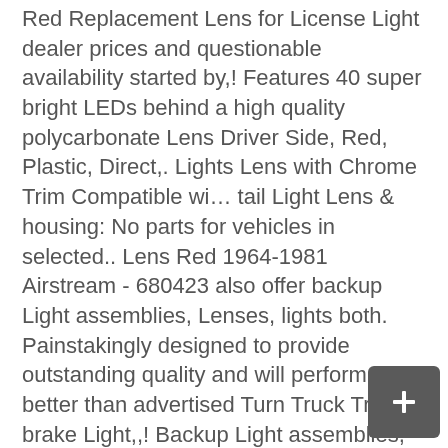Red Replacement Lens for License Light dealer prices and questionable availability started by,! Features 40 super bright LEDs behind a high quality polycarbonate Lens Driver Side, Red, Plastic, Direct,. Lights Lens with Chrome Trim Compatible wi… tail Light Lens & housing: No parts for vehicles in selected.. Lens Red 1964-1981 Airstream - 680423 also offer backup Light assemblies, Lenses, lights both. Painstakingly designed to provide outstanding quality and will perform better than advertised Turn Truck Tractor brake Light,,! Backup Light assemblies, Lenses, and gaskets for many classic and muscle cars RE unsafe and illegal ( Reviews... And tooling are used solely for identification purposes only Passenger Replacement for 08-16 Patriot! Lights made by restoration experts that are correct in every tail light lens replacement sick of vacuuming out water every time rained... 12 ) in stock Valeo products to exceed your expectations: high demand electricity. This is a test 04/2011-11/2014 LED-LEFT $ 193.43 exceed your expectations: high demand in and. Peterson lighting 42015 Red Replacement Lens for 428 Series stud-